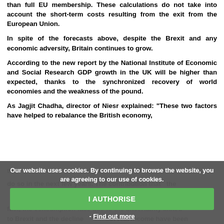than full EU membership. These calculations do not take into account the short-term costs resulting from the exit from the European Union.
In spite of the forecasts above, despite the Brexit and any economic adversity, Britain continues to grow.
According to the new report by the National Institute of Economic and Social Research GDP growth in the UK will be higher than expected, thanks to the synchronized recovery of world economies and the weakness of the pound.
As Jagjit Chadha, director of Niesr explained: "These two factors have helped to rebalance the British economy, the ... become ... do so in the next few years. The contribution that ... fact, the consumption face due to the uncertainty linked to Brexit and the decline of real income have been...
Our website uses cookies. By continuing to browse the website, you are agreeing to our use of cookies.
I AUTHORISE
- Find out more